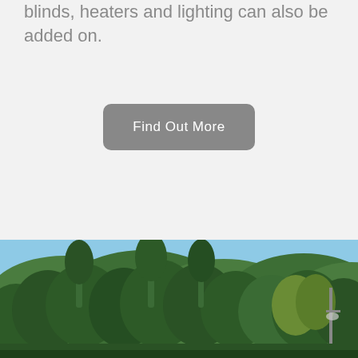blinds, heaters and lighting can also be added on.
Find Out More
[Figure (photo): Outdoor landscape photo showing dense green eucalyptus trees in foreground against a clear blue sky, with a street light pole visible at the right side]